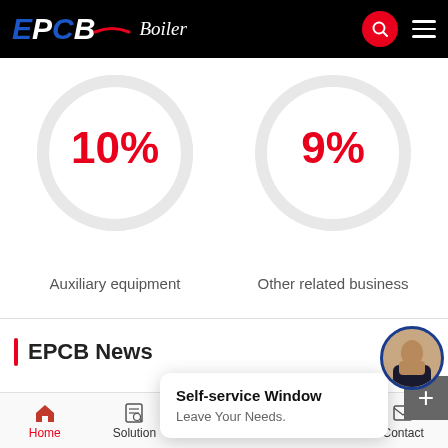[Figure (logo): EPCB Boiler logo on black header bar with search icon and hamburger menu]
[Figure (donut-chart): Auxiliary equipment]
[Figure (donut-chart): Other related business]
Auxiliary equipment
Other related business
EPCB News
[Figure (screenshot): Self-service Window popup: Leave Your Needs.]
Self-service Window
Leave Your Needs.
Home  Solution  Contact